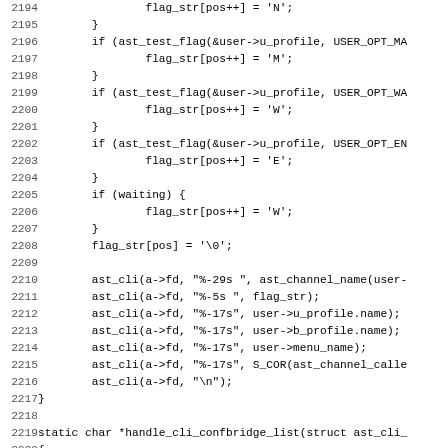[Figure (screenshot): Source code listing in monospace font showing C code lines 2194-2226 with line numbers on the left. Code includes conditional flag assignments, ast_cli calls, a closing brace, and the start of a static function handle_cli_confbridge_list.]